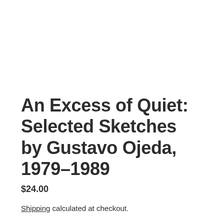An Excess of Quiet: Selected Sketches by Gustavo Ojeda, 1979–1989
$24.00
Shipping calculated at checkout.